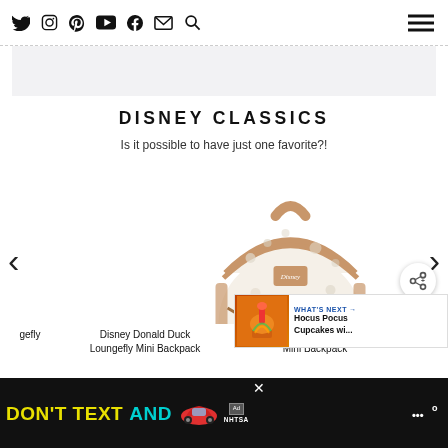Navigation bar with social icons: Twitter, Instagram, Pinterest, YouTube, Facebook, Email, Search, and hamburger menu
[Figure (illustration): Light gray banner/advertisement area below nav bar]
DISNEY CLASSICS
Is it possible to have just one favorite?!
[Figure (photo): Disney Dumbo Loungefly Mini Backpack - cream colored mini backpack with Disney characters pattern and tan leather trim]
Disney Donald Duck Loungefly Mini Backpack
Disney Dumbo Loungefly Mini Backpack
Loui (partially visible)
[Figure (infographic): What's Next overlay showing Hocus Pocus Cupcakes wi... with orange cupcake thumbnail]
[Figure (infographic): DON'T TEXT AND advertisement banner with car illustration and NHTSA logo on black background]